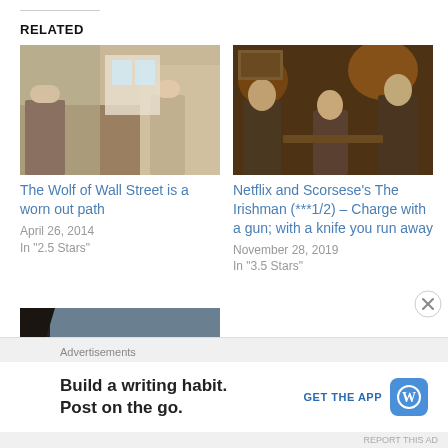RELATED
[Figure (photo): Scene from The Wolf of Wall Street — figures in casual/business attire in a bright interior setting]
The Wolf of Wall Street is a worn out path
April 26, 2014
In "2.5 Stars"
[Figure (photo): Scene from The Irishman — men in suits in a dimly lit room with warm lighting]
Netflix and Scorsese's The Irishman (***1/2) – Charge with a gun; with a knife you run away
November 28, 2019
In "3.5 Stars"
[Figure (photo): Scene from a period film — people near rocky cliffs with tall ships visible on the ocean]
Advertisements
Build a writing habit. Post on the go.
GET THE APP